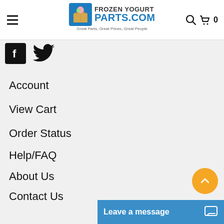Frozen Yogurt Parts.com — Great Parts, Great Prices, Great People
[Figure (logo): Frozen Yogurt Parts.com logo with box icon and tagline]
[Figure (illustration): Facebook and Twitter social media icons]
Account
View Cart
Order Status
Help/FAQ
About Us
Contact Us
Privacy Policy
Terms & Conditions
Shipping
Returns
Leave a message